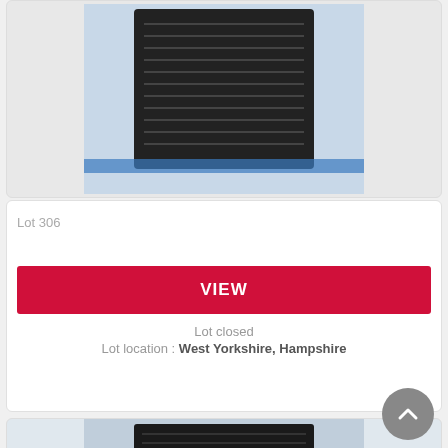[Figure (photo): Top portion of auction lot image — dark ridged/finned object on blue background]
Lot 306
VIEW
Lot closed
Lot location: West Yorkshire, Hampshire
[Figure (photo): Second auction lot image — dark ridged/finned object with yellow label sticker on blue background]